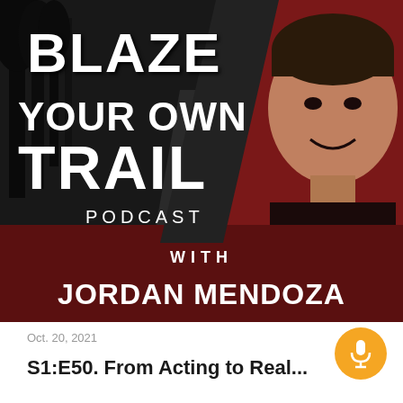[Figure (illustration): Podcast cover image for 'Blaze Your Own Trail Podcast with Jordan Mendoza'. Left half shows a dark black-and-white forest path with large bold white text 'BLAZE YOUR OWN TRAIL PODCAST'. Right half shows a man (Jordan Mendoza) smiling against a dark red/maroon background. Bottom portion has a dark maroon band with 'WITH JORDAN MENDOZA' in bold white text.]
Oct. 20, 2021
S1:E50. From Acting to Real...